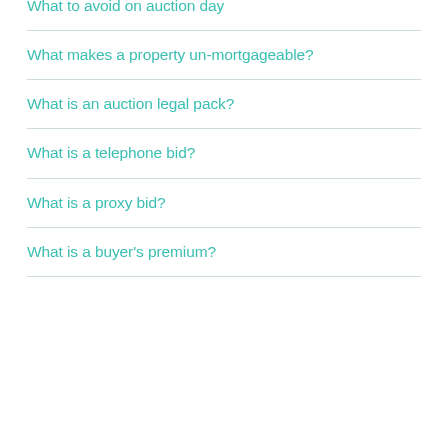What to avoid on auction day
What makes a property un-mortgageable?
What is an auction legal pack?
What is a telephone bid?
What is a proxy bid?
What is a buyer's premium?